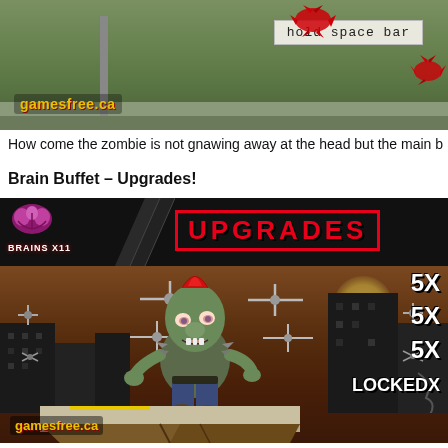[Figure (screenshot): Game screenshot showing a zombie game scene with 'hold space bar' instruction overlay and gamesfree.ca logo]
How come the zombie is not gnawing away at the head but the main b
Brain Buffet – Upgrades!
[Figure (screenshot): Game screenshot showing the Upgrades screen of Brain Buffet zombie game. Features BRAINS X11 counter, UPGRADES banner, zombie character with red mohawk on a platform, buildings in background, 5X upgrade multipliers on right side, and LOCKEDX label. gamesfree.ca logo visible.]